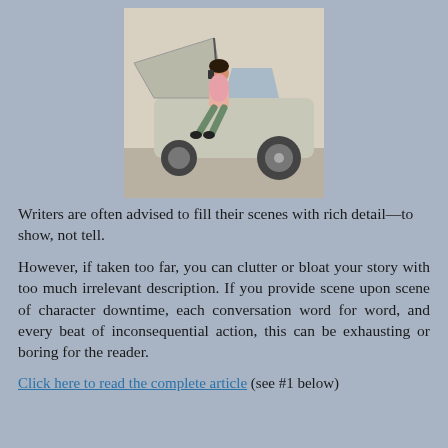[Figure (photo): A woman sitting on the front bumper of a broken-down car with the hood open, talking on a phone.]
Writers are often advised to fill their scenes with rich detail—to show, not tell.
However, if taken too far, you can clutter or bloat your story with too much irrelevant description. If you provide scene upon scene of character downtime, each conversation word for word, and every beat of inconsequential action, this can be exhausting or boring for the reader.
Click here to read the complete article (see #1 below)